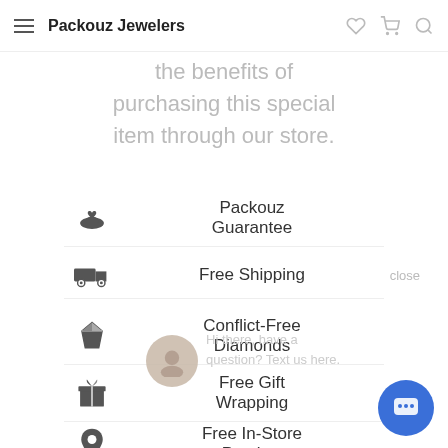Packouz Jewelers
the benefits of purchasing this special item through our store.
Packouz Guarantee
Free Shipping
Conflict-Free Diamonds
Free Gift Wrapping
Free In-Store Preview